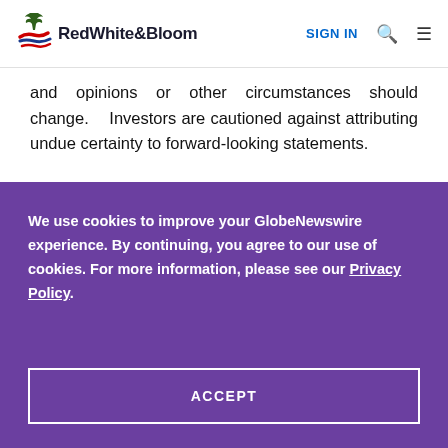RedWhite&Bloom | SIGN IN
and opinions or other circumstances should change. Investors are cautioned against attributing undue certainty to forward-looking statements.
We use cookies to improve your GlobeNewswire experience. By continuing, you agree to our use of cookies. For more information, please see our Privacy Policy.
ACCEPT